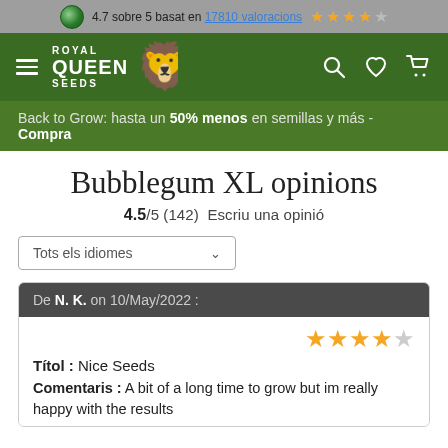4.7 sobre 5 basat en 17810 valoracions
[Figure (logo): Royal Queen Seeds logo with lion, white text on green background, hamburger menu icon]
Back to Grow: hasta un 50% menos en semillas y más - Compra
Bubblegum XL opinions
4.5/5 (142) Escriu una opinió
Tots els idiomes
De N. K. on 10/May/2022 :
Títol : Nice Seeds
Comentaris : A bit of a long time to grow but im really happy with the results